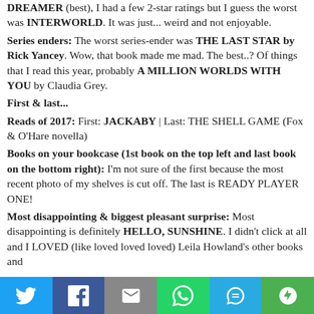DREAMER (best), I had a few 2-star ratings but I guess the worst was INTERWORLD. It was just... weird and not enjoyable. Series enders: The worst series-ender was THE LAST STAR by Rick Yancey. Wow, that book made me mad. The best..? Of things that I read this year, probably A MILLION WORLDS WITH YOU by Claudia Grey. First & last... Reads of 2017: First: JACKABY | Last: THE SHELL GAME (Fox & O'Hare novella) Books on your bookcase (1st book on the top left and last book on the bottom right): I'm not sure of the first because the most recent photo of my shelves is cut off. The last is READY PLAYER ONE! Most disappointing & biggest pleasant surprise: Most disappointing is definitely HELLO, SUNSHINE. I didn't click at all and I LOVED (like loved loved loved) Leila Howland's other books and
[Figure (infographic): Social media sharing bar with icons for Twitter, Facebook, Email, WhatsApp, SMS, and More]